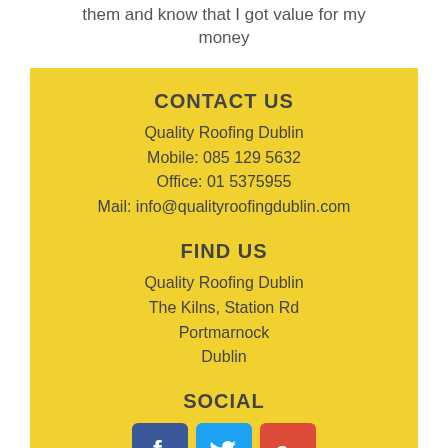them and know that I got value for my money
CONTACT US
Quality Roofing Dublin
Mobile: 085 129 5632
Office: 01 5375955
Mail: info@qualityroofingdublin.com
FIND US
Quality Roofing Dublin
The Kilns, Station Rd
Portmarnock
Dublin
SOCIAL
[Figure (infographic): Three social media icons: Facebook (blue), Twitter (light blue), Google+ (red)]
ARTICLES